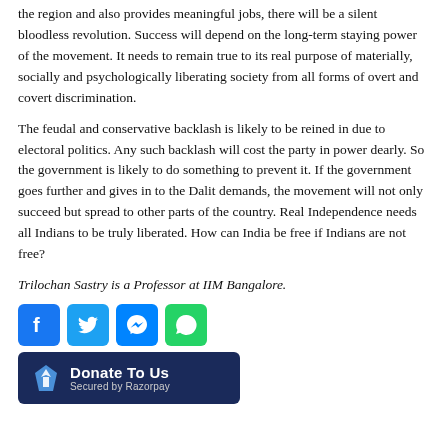the region and also provides meaningful jobs, there will be a silent bloodless revolution. Success will depend on the long-term staying power of the movement. It needs to remain true to its real purpose of materially, socially and psychologically liberating society from all forms of overt and covert discrimination.
The feudal and conservative backlash is likely to be reined in due to electoral politics. Any such backlash will cost the party in power dearly. So the government is likely to do something to prevent it. If the government goes further and gives in to the Dalit demands, the movement will not only succeed but spread to other parts of the country. Real Independence needs all Indians to be truly liberated. How can India be free if Indians are not free?
Trilochan Sastry is a Professor at IIM Bangalore.
[Figure (logo): Social media share buttons: Facebook, Twitter, Messenger, WhatsApp]
[Figure (logo): Donate To Us button secured by Razorpay]